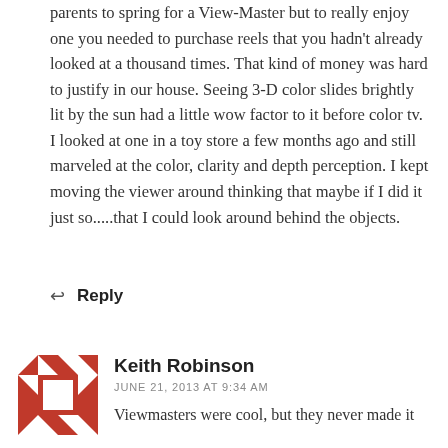parents to spring for a View-Master but to really enjoy one you needed to purchase reels that you hadn't already looked at a thousand times. That kind of money was hard to justify in our house. Seeing 3-D color slides brightly lit by the sun had a little wow factor to it before color tv. I looked at one in a toy store a few months ago and still marveled at the color, clarity and depth perception. I kept moving the viewer around thinking that maybe if I did it just so.....that I could look around behind the objects.
↩ Reply
[Figure (illustration): Avatar icon for Keith Robinson — a geometric quilt-like pattern in red/orange and white squares arranged in a square grid]
Keith Robinson
JUNE 21, 2013 AT 9:34 AM
Viewmasters were cool, but they never made it